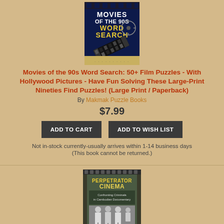[Figure (photo): Book cover for 'Movies of the 90s Word Search' showing film reel graphic with yellow and white text on dark navy background]
Movies of the 90s Word Search: 50+ Film Puzzles - With Hollywood Pictures - Have Fun Solving These Large-Print Nineties Find Puzzles! (Large Print / Paperback)
By Makmak Puzzle Books
$7.99
ADD TO CART
ADD TO WISH LIST
Not in-stock currently-usually arrives within 1-14 business days
(This book cannot be returned.)
[Figure (photo): Book cover for 'Perpetrator Cinema: Confronting Criminals in Cambodian Documentary' with film strip border and group photo]